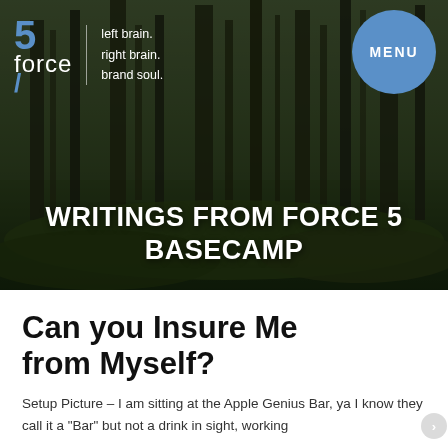[Figure (screenshot): Hero banner with dark forest background image showing tall pine trees. Contains Force 5 logo with tagline 'left brain. right brain. brand soul.', a blue circular MENU button, and headline text 'WRITINGS FROM FORCE 5 BASECAMP' in large white bold uppercase letters.]
Can you Insure Me from Myself?
Setup Picture – I am sitting at the Apple Genius Bar, ya I know they call it a "Bar" but not a drink in sight, working